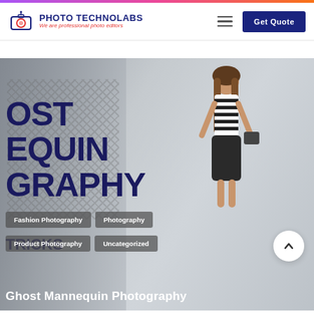Photo Technolabs — We are professional photo editors | Get Quote
[Figure (screenshot): Website screenshot showing Photo Technolabs navigation bar with logo, hamburger menu and Get Quote button, followed by a hero image featuring ghost mannequin photography with text overlay 'GHOST MANNEQUIN PHOTOGRAPHY TRICKS', category pills (Fashion Photography, Photography, Product Photography, Uncategorized), and headline 'Ghost Mannequin Photography']